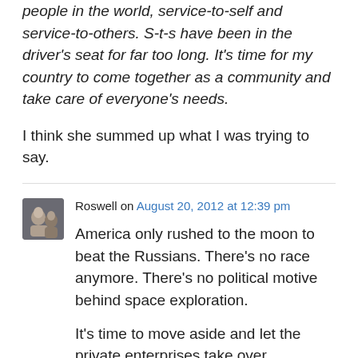people in the world, service-to-self and service-to-others. S-t-s have been in the driver's seat for far too long. It's time for my country to come together as a community and take care of everyone's needs.
I think she summed up what I was trying to say.
Roswell on August 20, 2012 at 12:39 pm
America only rushed to the moon to beat the Russians. There's no race anymore. There's no political motive behind space exploration.
It's time to move aside and let the private enterprises take over. Companies like Brigalow are ready to invest billions of their own money